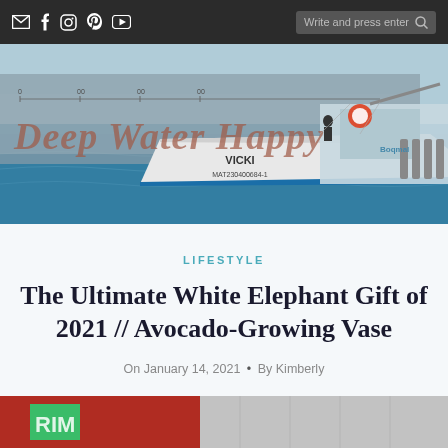Deep Water Happy — nav bar with social icons and search
[Figure (photo): Banner photo of a boat named VICKI (MAT230400684-1) on blue water with text 'Deep Water Happy' overlaid in italic script]
LIFESTYLE
The Ultimate White Elephant Gift of 2021 // Avocado-Growing Vase
On January 14, 2021  •  By Kimberly
[Figure (photo): Bottom partial image strip showing colorful fabric or gift item]